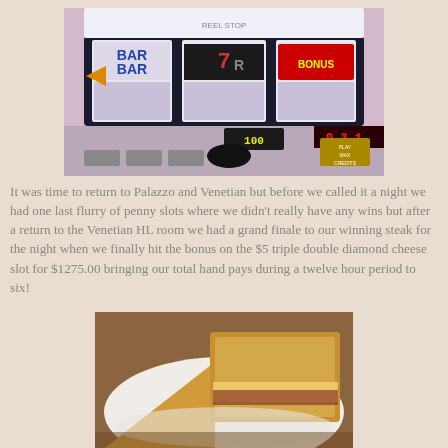[Figure (photo): Slot machine display showing BAR BAR and 7R reels with casino slot machine interface]
It was time to return to Palazzo and Venetian but before we called it a night we had one last flurry of penny slots where we didn't really have any wins but after a return to the Venetian HL room we had a grand finale to our winning steak for the night when we finally hit the bonus on the $5 triple double diamond cheese slot for $1275.00 bringing our total hand pays during a twelve hour period to six!
[Figure (photo): Close-up photo of a grilled cheese or club sandwich on a white plate]